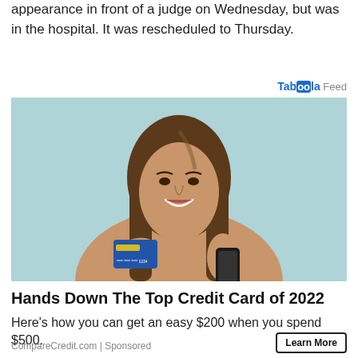appearance in front of a judge on Wednesday, but was in the hospital. It was rescheduled to Thursday.
Taboola Feed
[Figure (photo): A smiling young woman with long brown hair holding a credit card in one hand and a smartphone in the other, against a light teal background, wearing a beige top.]
Hands Down The Top Credit Card of 2022
Here's how you can get an easy $200 when you spend $500.
CompareCredit.com | Sponsored
Learn More